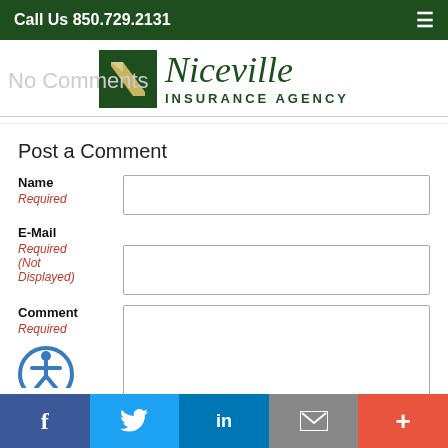Call Us 850.729.2131
[Figure (logo): Niceville Insurance Agency logo with green N icon and serif italic Niceville text]
No Comments
Post a Comment
Name
Required
E-Mail
Required (Not Displayed)
Comment
Required
[Figure (illustration): Partial accessibility icon (person in circle)]
Facebook | Twitter | LinkedIn | Email | More